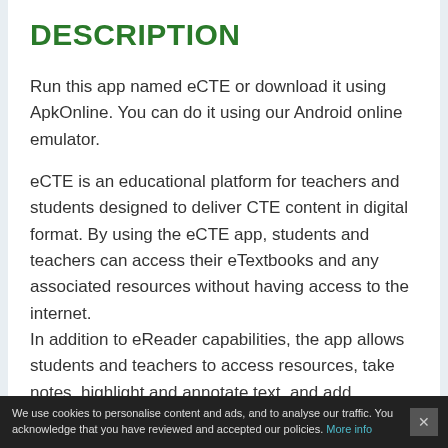DESCRIPTION
Run this app named eCTE or download it using ApkOnline. You can do it using our Android online emulator.
eCTE is an educational platform for teachers and students designed to deliver CTE content in digital format. By using the eCTE app, students and teachers can access their eTextbooks and any associated resources without having access to the internet.
In addition to eReader capabilities, the app allows students and teachers to access resources, take notes, highlight and annotate text, and add
We use cookies to personalise content and ads, and to analyse our traffic. You acknowledge that you have reviewed and accepted our policies. More info